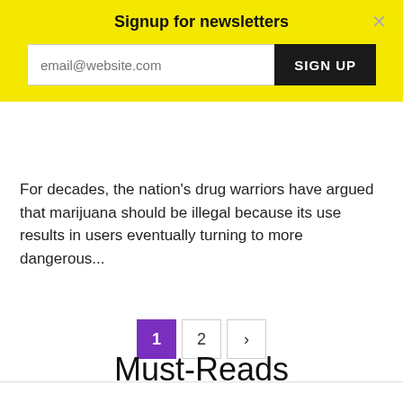Signup for newsletters
For decades, the nation's drug warriors have argued that marijuana should be illegal because its use results in users eventually turning to more dangerous...
Must-Reads